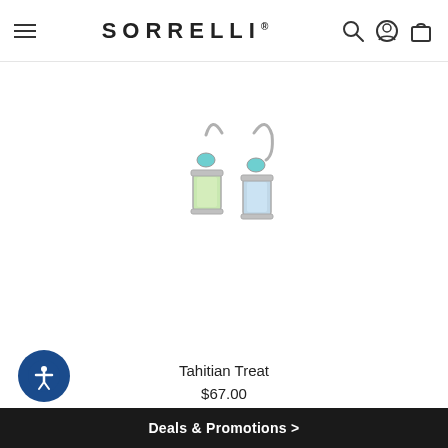Selvedge Denim
SORRELLI®
[Figure (photo): A pair of silver drop earrings with pale green rectangular gemstones and small turquoise accent stones, shown on a white background.]
Tahitian Treat
$67.00
[Figure (other): Circular accessibility icon button with a dark blue background showing a white person figure with arms outstretched.]
Deals & Promotions >